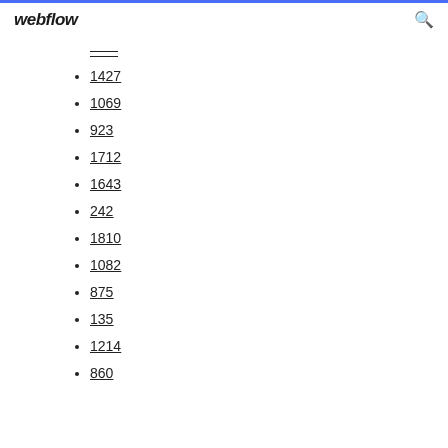webflow
1427
1069
923
1712
1643
242
1810
1082
875
135
1214
860